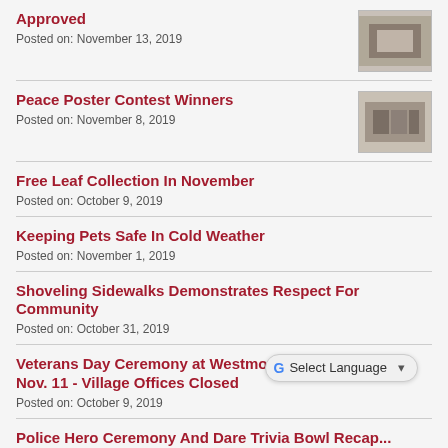Approved
Posted on: November 13, 2019
Peace Poster Contest Winners
Posted on: November 8, 2019
Free Leaf Collection In November
Posted on: October 9, 2019
Keeping Pets Safe In Cold Weather
Posted on: November 1, 2019
Shoveling Sidewalks Demonstrates Respect For Community
Posted on: October 31, 2019
Veterans Day Ceremony at Westmont Jr. High School Nov. 11 - Village Offices Closed
Posted on: October 9, 2019
Police Hero Ceremony And Dare Trivia Bowl Recap...